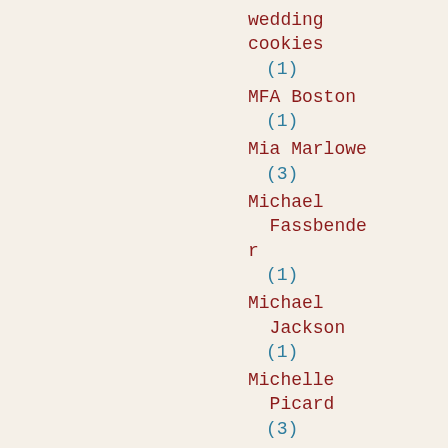wedding cookies (1)
MFA Boston (1)
Mia Marlowe (3)
Michael Fassbender (1)
Michael Jackson (1)
Michelle Picard (3)
Michelle Reid (1)